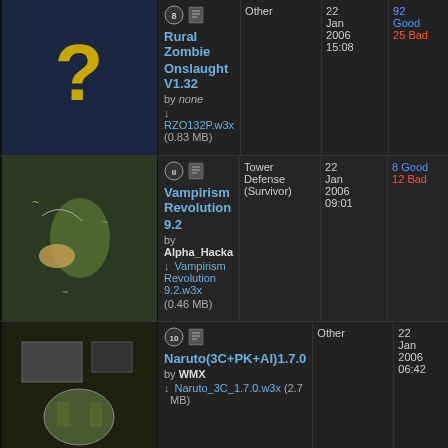Rural Zombie Onslaught V1.32 by none, RZO132P.w3x (0.83 MB), Other, 22 Jan 2006 15:08, 92 Good 25 Bad, 7773
Vampirism Revolution 9.2 by Alpha_Hacka, Vampirism Revolution 9.2.w3x (0.46 MB), Tower Defense (Survivor), 22 Jan 2006 09:01, 8 Good 12 Bad, 1666
Naruto(3C+PK+AI)1.7.0 by WMX, Naruto_3C_1.7.0.w3x (2.7 MB), Other, 22 Jan 2006 06:42, 372 Good 105 Bad, 144909
Hero Line War Remix 4T D by none, HeroLineWarRemix4TvD.w3x (0.24 MB), Other, 22 Jan 2006 06:32, 22 Good 9 Bad, 3740
Line Tower Deluxe v2.2, Other, 22 Jan, 6 Good 11 Bad, 1964